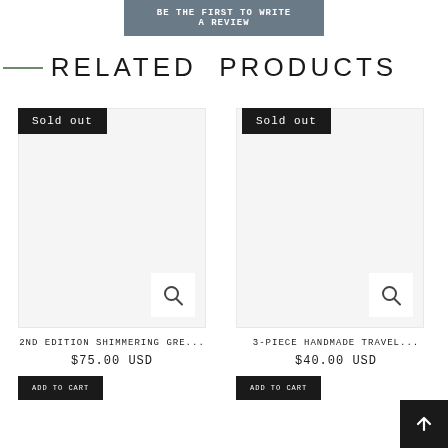BE THE FIRST TO WRITE A REVIEW
— RELATED PRODUCTS
Sold out
Sold out
[Figure (other): Product image placeholder for 2ND EDITION SHIMMERING GRE... with search icon]
[Figure (other): Product image placeholder for 3-PIECE HANDMADE TRAVEL... with search icon]
2ND EDITION SHIMMERING GRE...
$75.00 USD
3-PIECE HANDMADE TRAVEL...
$40.00 USD